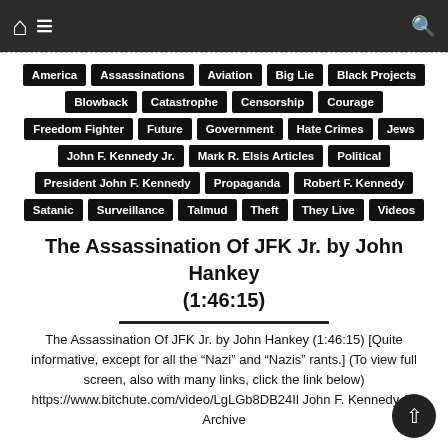Navigation bar with home, menu, and search icons
America
Assassinations
Aviation
Big Lie
Black Projects
Blowback
Catastrophe
Censorship
Courage
Freedom Fighter
Future
Government
Hate Crimes
Jews
John F. Kennedy Jr.
Mark R. Elsis Articles
Political
President John F. Kennedy
Propaganda
Robert F. Kennedy
Satanic
Surveillance
Talmud
Theft
They Live
Videos
The Assassination Of JFK Jr. by John Hankey (1:46:15)
The Assassination Of JFK Jr. by John Hankey (1:46:15) [Quite informative, except for all the “Nazi” and “Nazis” rants.] (To view full screen, also with many links, click the link below) https://www.bitchute.com/video/LgLGb8DB24Il John F. Kennedy Jr. Archive